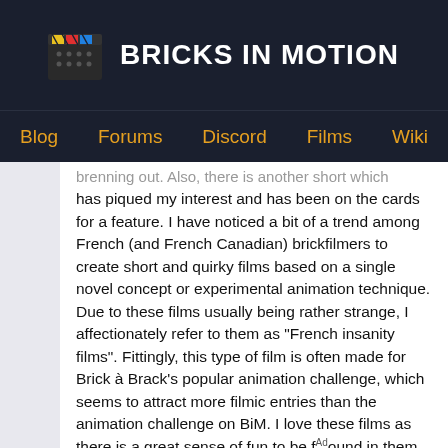BRICKS IN MOTION
Blog  Forums  Discord  Films  Wiki
...brenning out. Also, there is another short which has piqued my interest and has been on the cards for a feature. I have noticed a bit of a trend among French (and French Canadian) brickfilmers to create short and quirky films based on a single novel concept or experimental animation technique. Due to these films usually being rather strange, I affectionately refer to them as "French insanity films". Fittingly, this type of film is often made for Brick à Brack's popular animation challenge, which seems to attract more filmic entries than the animation challenge on BiM. I love these films as there is a great sense of fun to be found in them. They also seem like a good way to release films more frequently, rather than just leave the ideas as tests. I have chosen 10 films by 5 directors, which may look like a lot but actually comes out to about 9 minutes total viewing time.